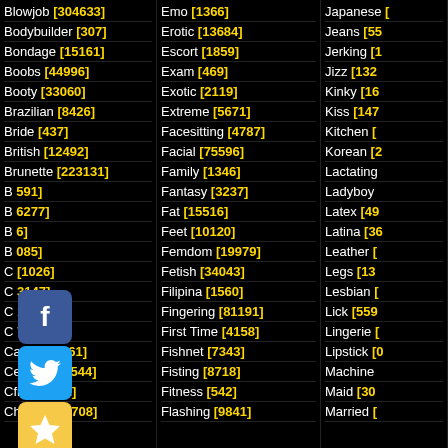Blowjob [304633]
Bodybuilder [307]
Bondage [15161]
Boobs [44996]
Booty [33060]
Brazilian [8426]
Bride [437]
British [12492]
Brunette [223131]
B...591]
B...6277]
B...6]
B...085]
C...[1026]
C...3147]
C...11]
C...7747]
Caught [5961]
Celebrity [6544]
Cfnm [3482]
Cheating [6708]
Emo [1366]
Erotic [13684]
Escort [1859]
Exam [469]
Exotic [2119]
Extreme [5671]
Facesitting [4787]
Facial [75596]
Family [1346]
Fantasy [3237]
Fat [15516]
Feet [10120]
Femdom [19979]
Fetish [34043]
Filipina [1560]
Fingering [81191]
First Time [4158]
Fishnet [7343]
Fisting [8718]
Fitness [542]
Flashing [9841]
Japanese [...]
Jeans [55...]
Jerking [1...]
Jizz [132...]
Kinky [16...]
Kiss [147...]
Kitchen [...]
Korean [2...]
Lactating
Ladyboy
Latex [49...]
Latina [36...]
Leather [...]
Legs [13...]
Lesbian [...]
Lick [559...]
Lingerie [...]
Lipstick [0...]
Machine
Maid [30...]
Married [...]